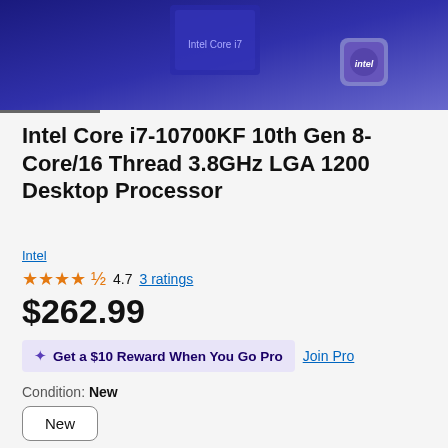[Figure (photo): Intel Core processor product image on a dark blue gradient background, with a small Intel chip badge visible at bottom right.]
Intel Core i7-10700KF 10th Gen 8-Core/16 Thread 3.8GHz LGA 1200 Desktop Processor
Intel
★★★★½ 4.7 3 ratings
$262.99
✦ Get a $10 Reward When You Go Pro  Join Pro
Condition: New
New